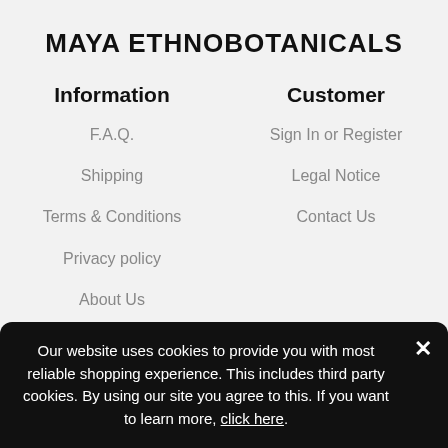MAYA ETHNOBOTANICALS
Information
Customer
F.A.Q.
Sign In or Register
Shipping
Legal Notice
Terms & Conditions
Contact Us
Privacy policy
About Us
Our website uses cookies to provide you with most reliable shopping experience. This includes third party cookies. By using our site you agree to this. If you want to learn more, click here.